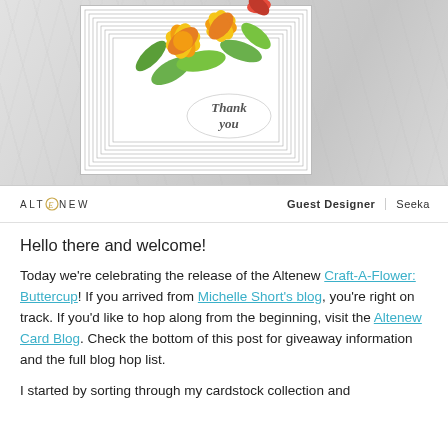[Figure (photo): A handmade greeting card with yellow buttercup flowers and green leaves on a white background with nested gray border lines, featuring a 'Thank you' sentiment label. The card is displayed on a marble surface.]
ALTENEW   Guest Designer   Seeka
Hello there and welcome!
Today we're celebrating the release of the Altenew Craft-A-Flower: Buttercup! If you arrived from Michelle Short's blog, you're right on track. If you'd like to hop along from the beginning, visit the Altenew Card Blog. Check the bottom of this post for giveaway information and the full blog hop list.
I started by sorting through my cardstock collection and